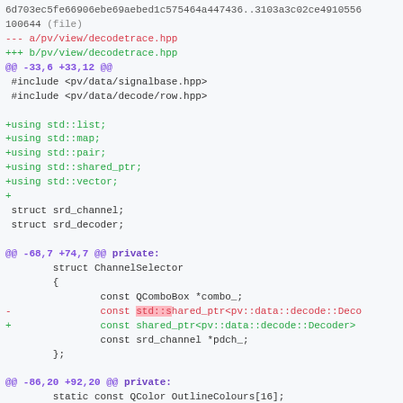6d703ec5fe66906ebe69aebed1c575464a447436..3103a3c02ce4910556
100644 (file)
--- a/pv/view/decodetrace.hpp
+++ b/pv/view/decodetrace.hpp
@@ -33,6 +33,12 @@
 #include <pv/data/signalbase.hpp>
 #include <pv/data/decode/row.hpp>

+using std::list;
+using std::map;
+using std::pair;
+using std::shared_ptr;
+using std::vector;
+
 struct srd_channel;
 struct srd_decoder;
@@ -68,7 +74,7 @@ private:
         struct ChannelSelector
         {
                 const QComboBox *combo_;
-                const std::shared_ptr<pv::data::decode::Deco
+                const shared_ptr<pv::data::decode::Decoder>
                 const srd_channel *pdch_;
         };

@@ -86,20 +92,20 @@ private:
         static const QColor OutlineColours[16];

 public:
-        DecodeTrace(pv::Session &session, std::shared_ptr<da